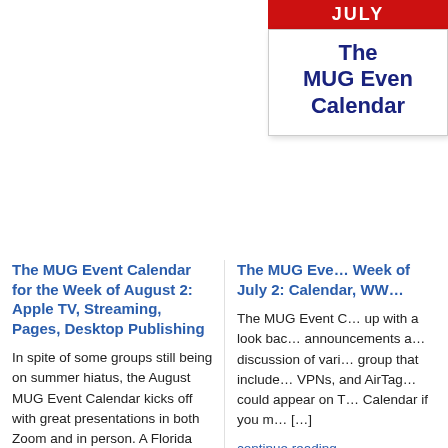[Figure (other): MUG Event Calendar widget with red JULY header and white body showing 'The MUG Event Calendar' text in dark blue bold]
The MUG Event Calendar for the Week of August 2: Apple TV, Streaming, Pages, Desktop Publishing
In spite of some groups still being on summer hiatus, the August MUG Event Calendar kicks off with great presentations in both Zoom and in person. A Florida group will look at Apple TV and streaming, while an Australian group will discuss Apple's Pages, and an Illinois group will examine a variety of desktop publishing […]
The MUG Event Calendar for the Week of July 2: Calendar, WW…
The MUG Event C… up with a look bac… announcements a… discussion of vari… group that include… VPNs, and AirTag… could appear on T… Calendar if you m… […]
continue reading…